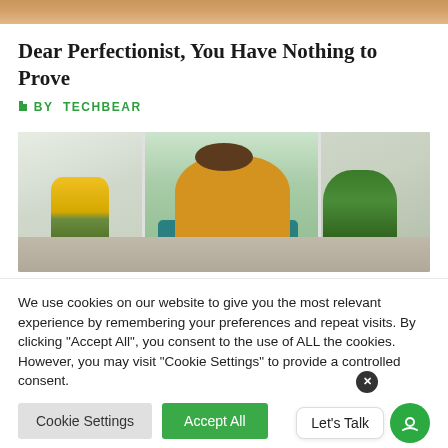[Figure (photo): Top portion of a photo showing a warm-toned wooden surface or interior scene, cropped at the top of the page.]
Dear Perfectionist, You Have Nothing to Prove
BY TECHBEAR
[Figure (photo): A person wearing a yellow sweater sits in a teal chair, reading or writing in a notebook. There are sunflowers on the left, a large green plant on the right, and a bright window in the background.]
We use cookies on our website to give you the most relevant experience by remembering your preferences and repeat visits. By clicking “Accept All”, you consent to the use of ALL the cookies. However, you may visit "Cookie Settings" to provide a controlled consent.
Cookie Settings
Accept All
Let's Talk